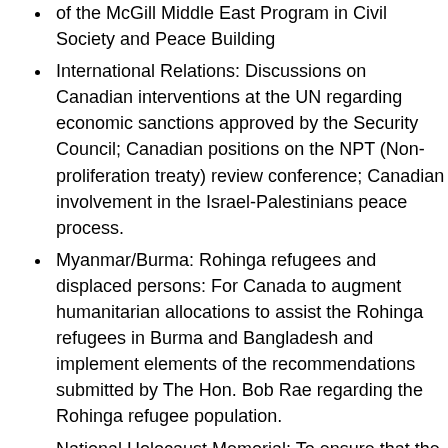of the McGill Middle East Program in Civil Society and Peace Building
International Relations: Discussions on Canadian interventions at the UN regarding economic sanctions approved by the Security Council; Canadian positions on the NPT (Non-proliferation treaty) review conference; Canadian involvement in the Israel-Palestinians peace process.
Myanmar/Burma: Rohinga refugees and displaced persons: For Canada to augment humanitarian allocations to assist the Rohinga refugees in Burma and Bangladesh and implement elements of the recommendations submitted by The Hon. Bob Rae regarding the Rohinga refugee population.
National Holocaust Memorial: To ensure that the Government of Canada provide resources for year-round access to the memorial as well as educations supports for visitors to the Holocaust Memorial